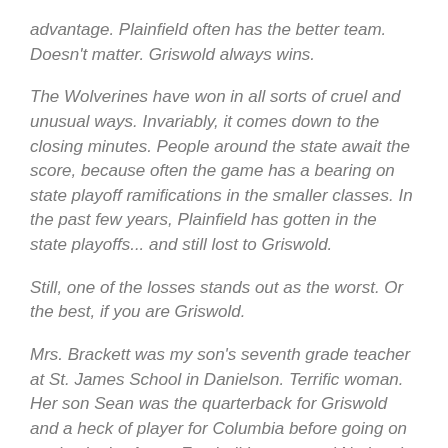advantage. Plainfield often has the better team. Doesn't matter. Griswold always wins.
The Wolverines have won in all sorts of cruel and unusual ways. Invariably, it comes down to the closing minutes. People around the state await the score, because often the game has a bearing on state playoff ramifications in the smaller classes. In the past few years, Plainfield has gotten in the state playoffs... and still lost to Griswold.
Still, one of the losses stands out as the worst. Or the best, if you are Griswold.
Mrs. Brackett was my son's seventh grade teacher at St. James School in Danielson. Terrific woman. Her son Sean was the quarterback for Griswold and a heck of player for Columbia before going on to play in the Arena Football League and National Arena League (MVP in